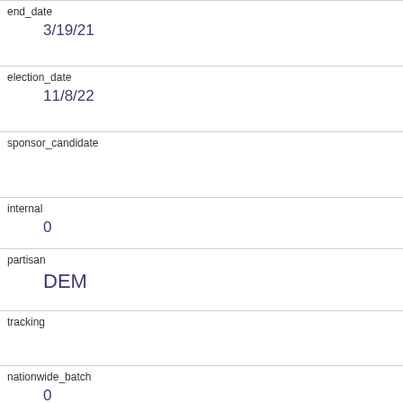| field | value |
| --- | --- |
| end_date | 3/19/21 |
| election_date | 11/8/22 |
| sponsor_candidate |  |
| internal | 0 |
| partisan | DEM |
| tracking |  |
| nationwide_batch | 0 |
| ranked_choice_reallocated | 0 |
| created_at | 3/22/21 19:38 |
| notes |  |
| url |  |